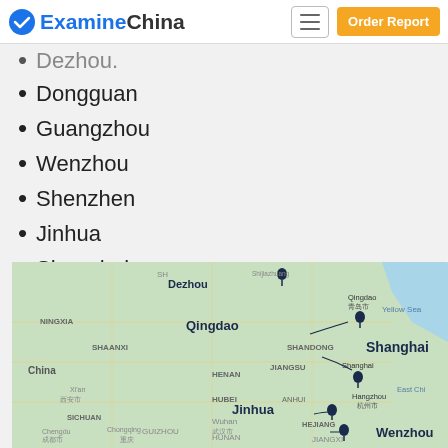ExamineChina — Order Report
Dezhou (partially visible)
Dongguan
Guangzhou
Wenzhou
Shenzhen
Jinhua
Shanghai
Qingdao.
[Figure (map): Map of eastern China showing city pin markers for Dezhou, Qingdao, Shanghai, Jinhua, Wenzhou and other cities. Labels visible include China, Ningxia, Shaanxi, Shandong, Henan, Hubei, Jiangsu, Anhui, Hejiang, Sichuan, Guizhou, Hunan, Jiangxi regions. Yellow Sea and East China Sea labeled. City markers shown for Qingdao, Shanghai, Jinhua, Wenzhou.]